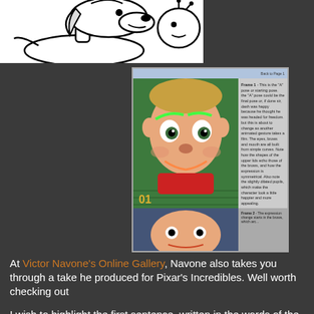[Figure (illustration): Black and white cartoon drawing of Snoopy from Peanuts, upper portion of image]
[Figure (screenshot): Screenshot of Victor Navone's Online Gallery showing a 3D animated character (from Pixar's Incredibles) with green eyebrows highlighted, with tutorial text beside and below. Number 01 visible in lower left of character image.]
At Victor Navone's Online Gallery, Navone also takes you through a take he produced for Pixar's Incredibles. Well worth checking out
I wish to highlight the first sentence, written in the words of the great animator himself.
'Animating a facial "take" (a surprised reaction) seems simple enough in concept, but once you get into it you'll find it requires as much understanding of animation principles as any other performance you might try to create.'
Those who entered this week's challenge certainly found it challenging. It is hard, but with a firm grip of the principles, the results can look breathtaking. Have a good and enjoy!!